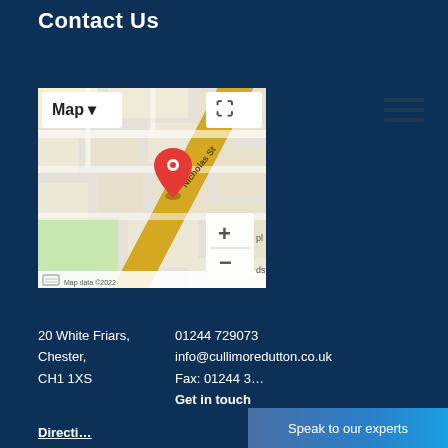Contact Us
[Figure (map): Google Maps screenshot showing location on Nicholas St, Chester, with a red map pin marker, zoom controls (+/-), fullscreen button, Map/Satellite toggle, and 'Map data ©2022' attribution at the bottom.]
20 White Friars,
Chester,
CH1 1XS
01244 729073
info@cullimoredutton.co.uk
Fax: 01244 3…
Get in touch
Directions
Speak to our experts